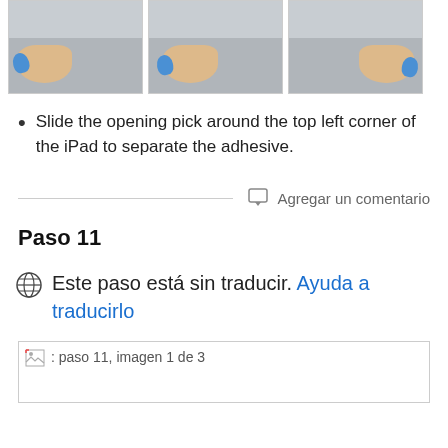[Figure (photo): Three photos showing hands using an opening pick tool on the corner of an iPad to separate adhesive.]
Slide the opening pick around the top left corner of the iPad to separate the adhesive.
Agregar un comentario
Paso 11
Este paso está sin traducir. Ayuda a traducirlo
[Figure (photo): paso 11, imagen 1 de 3 - image placeholder]